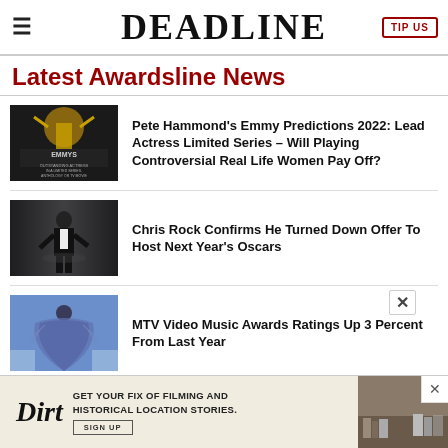DEADLINE
Latest Awardsline News
[Figure (photo): Emmy Awards promotional image showing woman with raised arms, text: EMMYS, OUTSTANDING ACTRESS IN A LIMITED SERIES, ANTHOLOGY OR TV MOVIE]
Pete Hammond's Emmy Predictions 2022: Lead Actress Limited Series – Will Playing Controversial Real Life Women Pay Off?
[Figure (photo): Man in tuxedo on stage at awards show]
Chris Rock Confirms He Turned Down Offer To Host Next Year's Oscars
[Figure (photo): Woman in blue feathered gown at awards show]
MTV Video Music Awards Ratings Up 3 Percent From Last Year
[Figure (photo): Partial fourth article thumbnail - dark image]
Emmy Predictions: Outstanding Televisi...
[Figure (screenshot): Advertisement for Dirt website: GET YOUR FIX OF FILMING AND HISTORICAL LOCATION STORIES. SIGN UP]